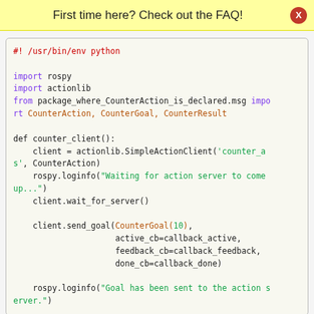First time here? Check out the FAQ!
#! /usr/bin/env python

import rospy
import actionlib
from package_where_CounterAction_is_declared.msg import CounterAction, CounterGoal, CounterResult

def counter_client():
    client = actionlib.SimpleActionClient('counter_as', CounterAction)
    rospy.loginfo("Waiting for action server to come up...")
    client.wait_for_server()

    client.send_goal(CounterGoal(10),
                     active_cb=callback_active,
                     feedback_cb=callback_feedback,
                     done_cb=callback_done)

    rospy.loginfo("Goal has been sent to the action server.")